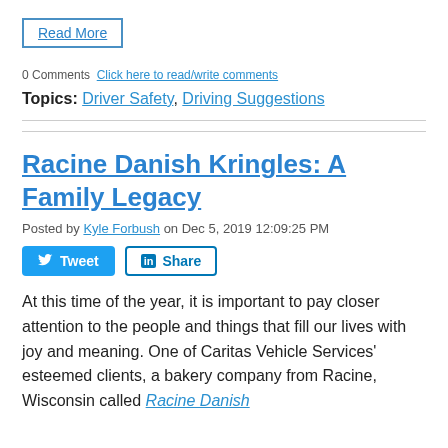Read More
0 Comments  Click here to read/write comments
Topics: Driver Safety, Driving Suggestions
Racine Danish Kringles: A Family Legacy
Posted by Kyle Forbush on Dec 5, 2019 12:09:25 PM
[Figure (other): Tweet and LinkedIn Share social media buttons]
At this time of the year, it is important to pay closer attention to the people and things that fill our lives with joy and meaning. One of Caritas Vehicle Services' esteemed clients, a bakery company from Racine, Wisconsin called Racine Danish